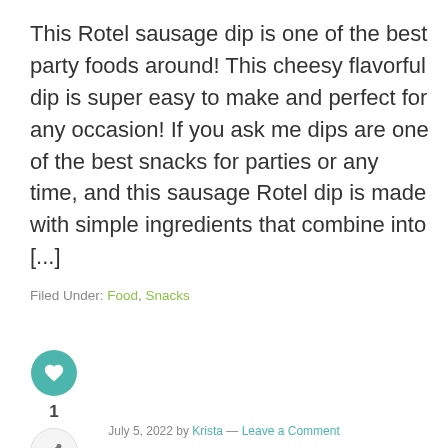This Rotel sausage dip is one of the best party foods around! This cheesy flavorful dip is super easy to make and perfect for any occasion! If you ask me dips are one of the best snacks for parties or any time, and this sausage Rotel dip is made with simple ingredients that combine into [...]
Filed Under: Food, Snacks
[Figure (infographic): Teal circular heart/like button icon followed by a count of 1, and a share button below]
July 5, 2022 by Krista — Leave a Comment